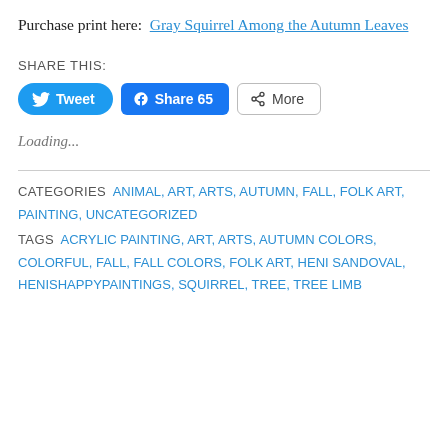Purchase print here:  Gray Squirrel Among the Autumn Leaves
SHARE THIS:
[Figure (screenshot): Social sharing buttons: Tweet (blue rounded), Share 65 (Facebook blue), More (outline button)]
Loading...
CATEGORIES  ANIMAL, ART, ARTS, AUTUMN, FALL, FOLK ART, PAINTING, UNCATEGORIZED
TAGS  ACRYLIC PAINTING, ART, ARTS, AUTUMN COLORS, COLORFUL, FALL, FALL COLORS, FOLK ART, HENI SANDOVAL, HENISHAPPYPAINTINGS, SQUIRREL, TREE, TREE LIMB